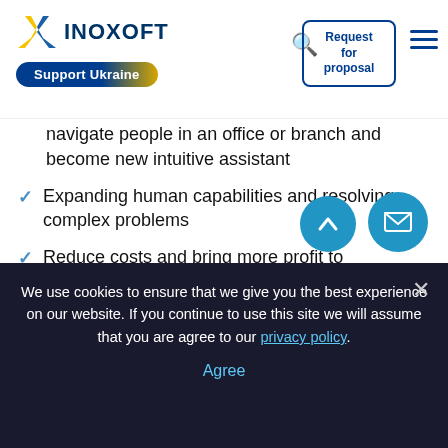INOXOFT | Support Ukraine | Request for proposal
navigate people in an office or branch and become new intuitive assistant
Expanding human capabilities and resolving complex problems
Reduce costs and bring more profit to businesses. AR-IoT apps can predict and send alerts in case of risks which usually leads to additional expenses to recover from consequences. Software and wearable payment devices reduce the amount of manual work and automate everything to a level when a client interacts with machinery to get services and stay completely satisfied.
We use cookies to ensure that we give you the best experience on our website. If you continue to use this site we will assume that you are agree to our privacy policy. Agree